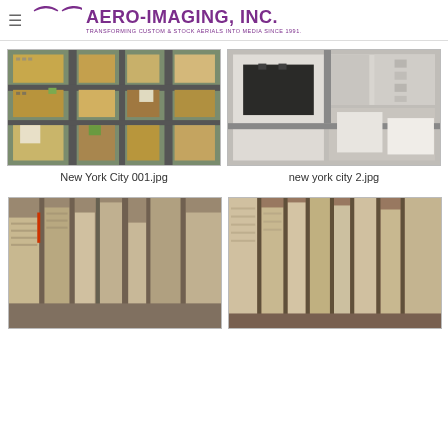AERO-IMAGING, INC. — TRANSFORMING CUSTOM & STOCK AERIALS INTO MEDIA SINCE 1991.
[Figure (photo): Aerial photograph of New York City buildings and streets, top-down view, colorful urban grid]
New York City 001.jpg
[Figure (photo): Aerial photograph of New York City large building rooftops viewed from directly above, mostly white/gray tones]
new york city 2.jpg
[Figure (photo): Aerial oblique photograph of New York City skyscrapers and streets, tan/beige tones]
[Figure (photo): Aerial oblique photograph of New York City dense skyscrapers and streets, warm tones]